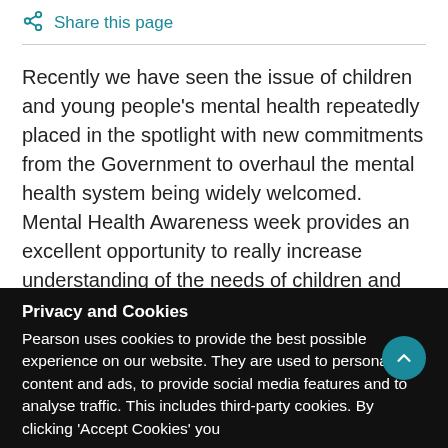Share this page
Recently we have seen the issue of children and young people's mental health repeatedly placed in the spotlight with new commitments from the Government to overhaul the mental health system being widely welcomed. Mental Health Awareness week provides an excellent opportunity to really increase understanding of the needs of children and young people struggling as a result of poor mental health and the impacts this can have.
Privacy and Cookies
Pearson uses cookies to provide the best possible experience on our website. They are used to personalise content and ads, to provide social media features and to analyse traffic. This includes third-party cookies. By clicking 'Accept Cookies' you